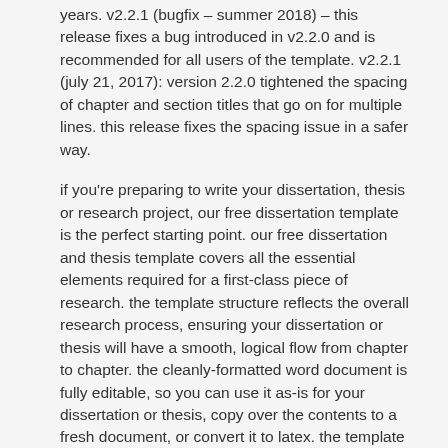years. v2.2.1 (bugfix – summer 2018) – this release fixes a bug introduced in v2.2.0 and is recommended for all users of the template. v2.2.1 (july 21, 2017): version 2.2.0 tightened the spacing of chapter and section titles that go on for multiple lines. this release fixes the spacing issue in a safer way.
if you're preparing to write your dissertation, thesis or research project, our free dissertation template is the perfect starting point. our free dissertation and thesis template covers all the essential elements required for a first-class piece of research. the template structure reflects the overall research process, ensuring your dissertation or thesis will have a smooth, logical flow from chapter to chapter. the cleanly-formatted word document is fully editable, so you can use it as-is for your dissertation or thesis, copy over the contents to a fresh document, or convert it to latex. the template is provided in a fully editable ms word document. the template follows the standard best practice